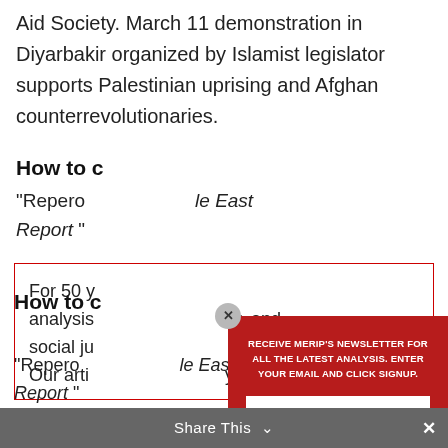Aid Society. March 11 demonstration in Diyarbakir organized by Islamist legislator supports Palestinian uprising and Afghan counterrevolutionaries.
How to cr
"Repero... de East Report "
For 50 y... analysis... y, and social ju... ations. Our arti... yths,
[Figure (screenshot): Newsletter signup modal overlay on a red background with email input field and Sign Up button, plus a close X button]
Share This